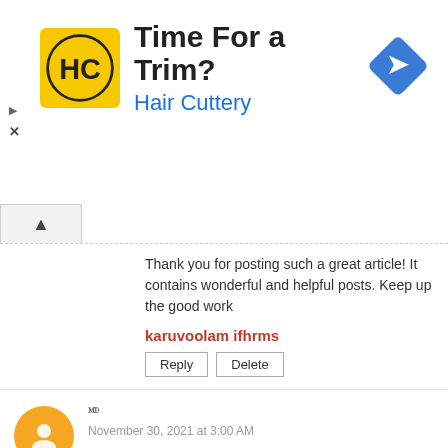[Figure (other): Hair Cuttery advertisement banner with HC logo, title 'Time For a Trim?', subtitle 'Hair Cuttery', and a blue diamond direction arrow icon]
Thank you for posting such a great article! It contains wonderful and helpful posts. Keep up the good work
karuvoolam ifhrms
Reply   Delete
🅱 November 30, 2021 at 3:00 AM
Your blog is so amazing. Information is very useful for everyone. such a amazing post please keep posting.🅱🅱
Reply   Delete   ✕ CLOSE
[Figure (other): Velocity Global advertisement: International Hiring Checklist with logo and 'WEITERE INFOS' button]